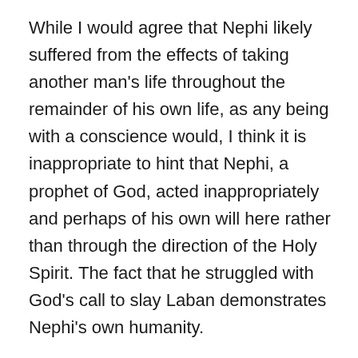While I would agree that Nephi likely suffered from the effects of taking another man's life throughout the remainder of his own life, as any being with a conscience would, I think it is inappropriate to hint that Nephi, a prophet of God, acted inappropriately and perhaps of his own will here rather than through the direction of the Holy Spirit. The fact that he struggled with God's call to slay Laban demonstrates Nephi's own humanity.
I am not one who believes in a blood thirsty Creator but this is the same God who called on the Israelites to wipe out the people of Canaan just 800 years previously in order to conquer their land of inheritance. The same God who